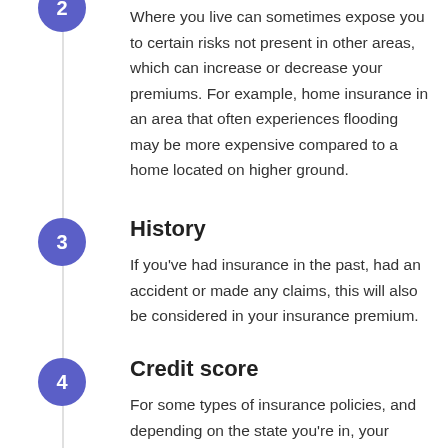Where you live can sometimes expose you to certain risks not present in other areas, which can increase or decrease your premiums. For example, home insurance in an area that often experiences flooding may be more expensive compared to a home located on higher ground.
History
If you've had insurance in the past, had an accident or made any claims, this will also be considered in your insurance premium.
Credit score
For some types of insurance policies, and depending on the state you're in, your credit score will be considered. This is to determine your likelihood of defaulting on payments.